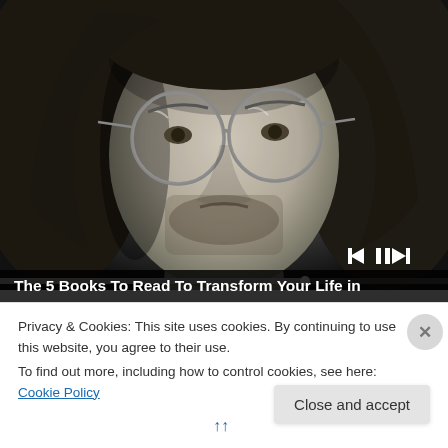[Figure (photo): Black and white close-up photo of a young man with long hair, round glasses, and a beard, looking upward. Media player controls (previous, pause, next) are visible in the lower right of the image, and a progress/seek bar runs across the bottom.]
The 5 Books To Read To Transform Your Life in
Privacy & Cookies: This site uses cookies. By continuing to use this website, you agree to their use.
To find out more, including how to control cookies, see here: Cookie Policy